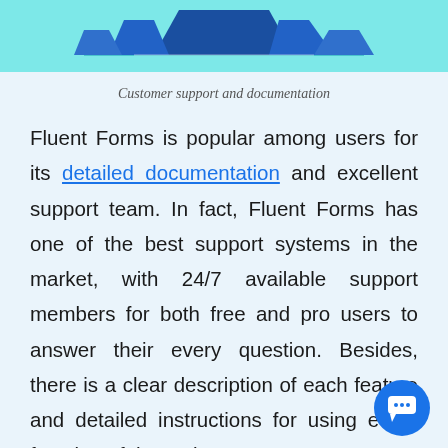[Figure (illustration): Partial illustration of people/figures on a teal/cyan background, cropped at top]
Customer support and documentation
Fluent Forms is popular among users for its detailed documentation and excellent support team. In fact, Fluent Forms has one of the best support systems in the market, with 24/7 available support members for both free and pro users to answer their every question. Besides, there is a clear description of each feature and detailed instructions for using every function of the tool.
[Figure (illustration): Blue circular chat/support bubble icon in the bottom right corner]